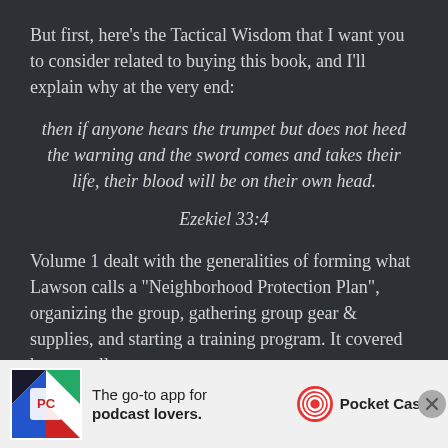But first, here's the Tactical Wisdom that I want you to consider related to buying this book, and I'll explain why at the very end:
then if anyone hears the trumpet but does not heed the warning and the sword comes and takes their life, their blood will be on their own head.
Ezekiel 33:4
Volume 1 dealt with the generalities of forming what Lawson calls a “Neighborhood Protection Plan”, organizing the group, gathering group gear & supplies, and starting a training program. It covered how to sell
[Figure (other): Advertisement banner for Pocket Casts app — 'The go-to app for podcast lovers.' with app icon and Pocket Casts logo]